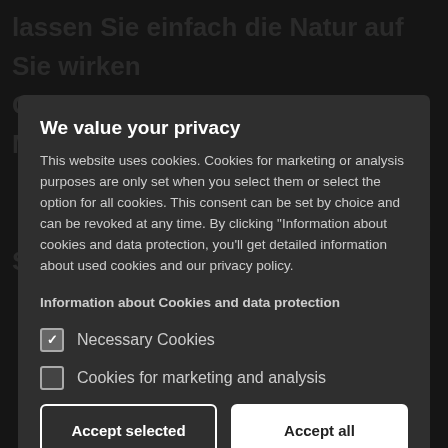We value your privacy
This website uses cookies. Cookies for marketing or analysis purposes are only set when you select them or select the option for all cookies. This consent can be set by choice and can be revoked at any time. By clicking "Information about cookies and data protection, you'll get detailed information about used cookies and our privacy policy.
Information about Cookies and data protection
Necessary Cookies
Cookies for marketing and analysis
Accept selected
Accept all